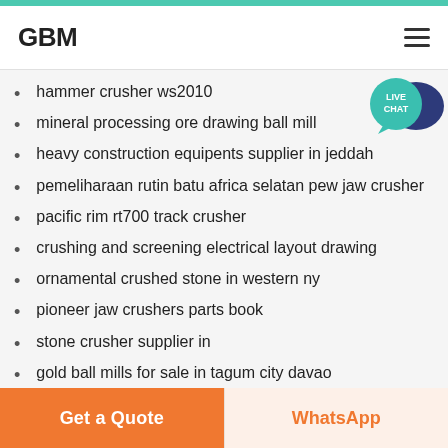GBM
hammer crusher ws2010
mineral processing ore drawing ball mill
heavy construction equipents supplier in jeddah
pemeliharaan rutin batu africa selatan pew jaw crusher
pacific rim rt700 track crusher
crushing and screening electrical layout drawing
ornamental crushed stone in western ny
pioneer jaw crushers parts book
stone crusher supplier in
gold ball mills for sale in tagum city davao
china xxsx hot sale vibrating screen used in stone crushing plant
Get a Quote | WhatsApp